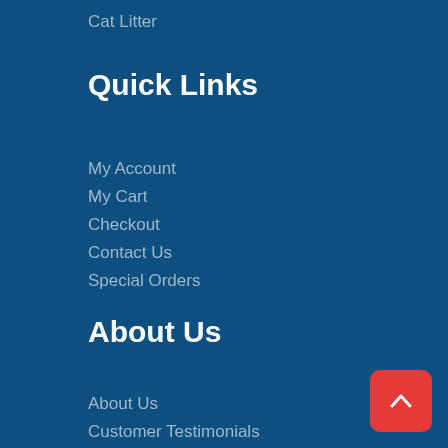Cat Litter
Quick Links
My Account
My Cart
Checkout
Contact Us
Special Orders
About Us
About Us
Customer Testimonials
Delivery To Your Door